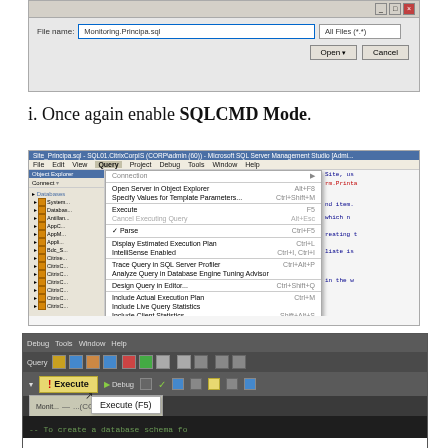[Figure (screenshot): Windows file open dialog showing file name 'Monitoring.Principa.sql' with All Files type, Open and Cancel buttons]
i. Once again enable SQLCMD Mode.
[Figure (screenshot): Microsoft SQL Server Management Studio screenshot showing the Query menu open with SQLCMD Mode highlighted in yellow]
[Figure (screenshot): SQL Server Management Studio toolbar showing Execute button with tooltip 'Execute (F5)', Debug menu, and beginning of SQL comment '-- To create a database schema fo']